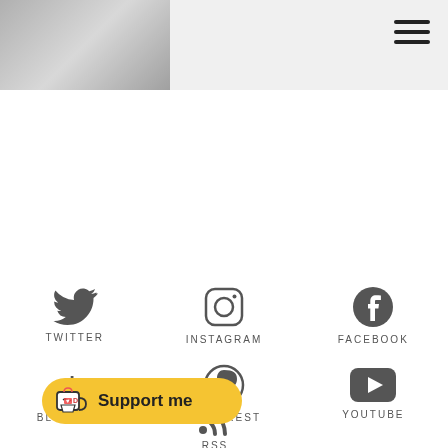[Figure (photo): Header bar with partial grayscale photo/logo on left and hamburger menu icon on top right]
FOLLOW ME
[Figure (infographic): Social media icons grid: Twitter, Instagram, Facebook, Bloglovin, Pinterest, YouTube, RSS with labels]
[Figure (illustration): Yellow rounded button with coffee cup icon and text 'Support me']